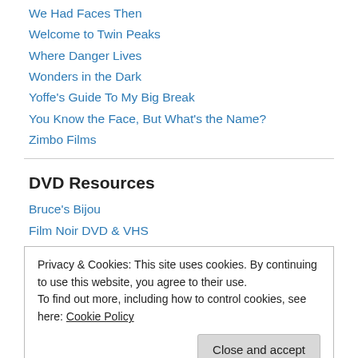We Had Faces Then
Welcome to Twin Peaks
Where Danger Lives
Wonders in the Dark
Yoffe's Guide To My Big Break
You Know the Face, But What's the Name?
Zimbo Films
DVD Resources
Bruce's Bijou
Film Noir DVD & VHS
Privacy & Cookies: This site uses cookies. By continuing to use this website, you agree to their use.
To find out more, including how to control cookies, see here: Cookie Policy
Close and accept
Sell.com